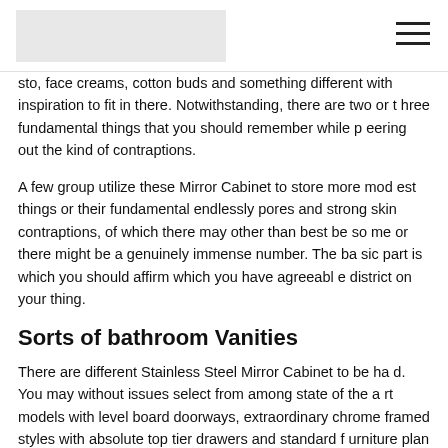[Logo] [Hamburger menu]
sto, face creams, cotton buds and something different with inspiration to fit in there. Notwithstanding, there are two or three fundamental things that you should remember while peering out the kind of contraptions.
A few group utilize these Mirror Cabinet to store more modest things or their fundamental endlessly pores and strong skin contraptions, of which there may other than best be some or there might be a genuinely immense number. The basic part is which you should affirm which you have agreeable district on your thing.
Sorts of bathroom Vanities
There are different Stainless Steel Mirror Cabinet to be had. You may without issues select from among state of the art models with level board doorways, extraordinary chrome framed styles with absolute top tier drawers and standard furniture plan cupboards.
Sorting out the pieces of the department